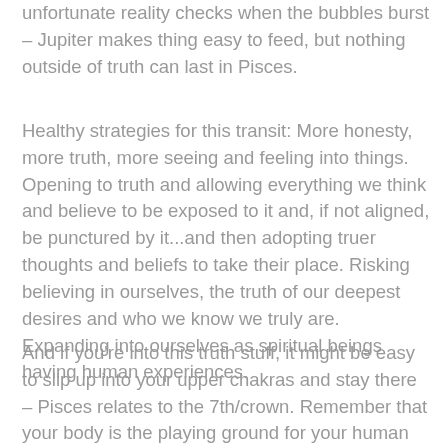unfortunate reality checks when the bubbles burst – Jupiter makes thing easy to feed, but nothing outside of truth can last in Pisces.
Healthy strategies for this transit: More honesty, more truth, more seeing and feeling into things. Opening to truth and allowing everything we think and believe to be exposed to it and, if not aligned, be punctured by it...and then adopting truer thoughts and beliefs to take their place. Risking believing in ourselves, the truth of our deepest desires and who we know we truly are. Expanding into ourselves as spiritual beings having human experiences.
And if you're into this truth stuff, it might be easy to slip up into your upper chakras and stay there – Pisces relates to the 7th/crown. Remember that your body is the playing ground for your human experience as a spiritual being and choose to stay in it. Spirituality disconnected from the